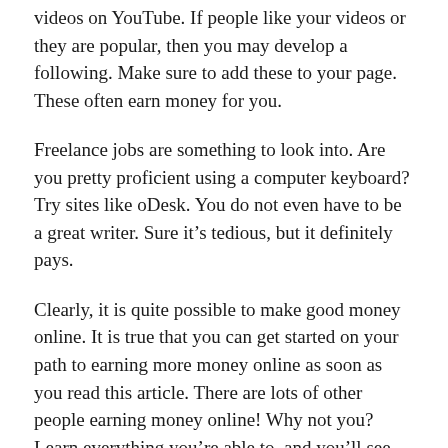videos on YouTube. If people like your videos or they are popular, then you may develop a following. Make sure to add these to your page. These often earn money for you.
Freelance jobs are something to look into. Are you pretty proficient using a computer keyboard? Try sites like oDesk. You do not even have to be a great writer. Sure it's tedious, but it definitely pays.
Clearly, it is quite possible to make good money online. It is true that you can get started on your path to earning more money online as soon as you read this article. There are lots of other people earning money online! Why not you? Learn everything you're able to, and you'll see the money flow in as well.